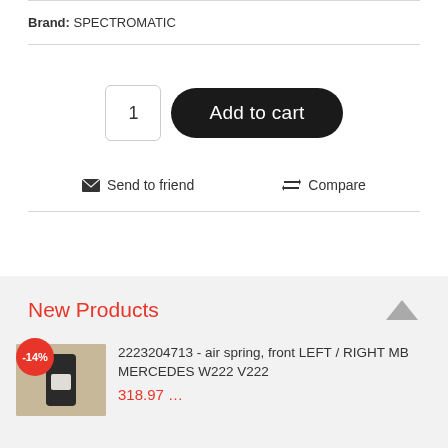Brand: SPECTROMATIC
1  Add to cart
✉ Send to friend   ⇄ Compare
New Products
2223204713 - air spring, front LEFT / RIGHT MB MERCEDES W222 V222
318.97